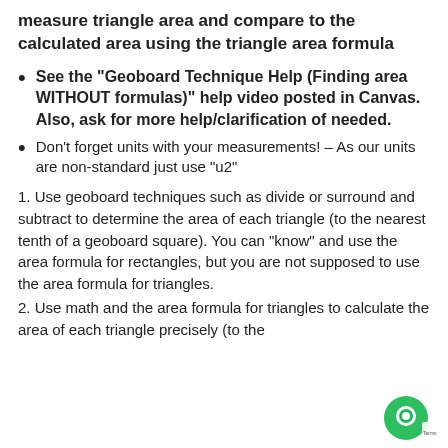measure triangle area and compare to the calculated area using the triangle area formula
See the “Geoboard Technique Help (Finding area WITHOUT formulas)” help video posted in Canvas. Also, ask for more help/clarification of needed.
Don’t forget units with your measurements! –  As our units are non-standard just use “u2”
1. Use geoboard techniques such as divide or surround and subtract to determine the area of each triangle (to the nearest tenth of a geoboard square). You can “know” and use the area formula for rectangles, but you are not supposed to use the area formula for triangles.
2. Use math and the area formula for triangles to calculate the area of each triangle precisely (to the